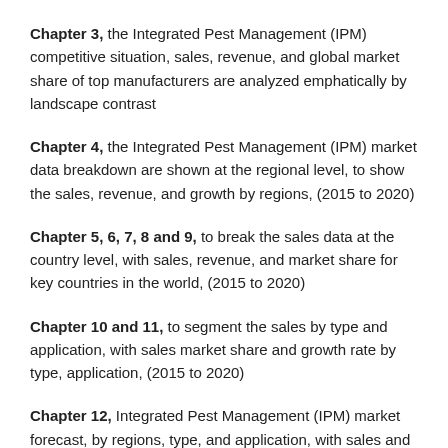Chapter 3, the Integrated Pest Management (IPM) competitive situation, sales, revenue, and global market share of top manufacturers are analyzed emphatically by landscape contrast
Chapter 4, the Integrated Pest Management (IPM) market data breakdown are shown at the regional level, to show the sales, revenue, and growth by regions, (2015 to 2020)
Chapter 5, 6, 7, 8 and 9, to break the sales data at the country level, with sales, revenue, and market share for key countries in the world, (2015 to 2020)
Chapter 10 and 11, to segment the sales by type and application, with sales market share and growth rate by type, application, (2015 to 2020)
Chapter 12, Integrated Pest Management (IPM) market forecast, by regions, type, and application, with sales and revenue, (2020 to